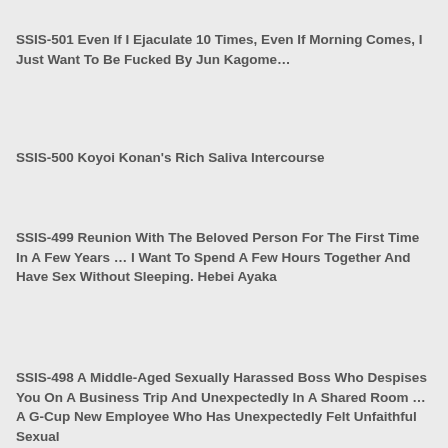SSIS-501 Even If I Ejaculate 10 Times, Even If Morning Comes, I Just Want To Be Fucked By Jun Kagome…
SSIS-500 Koyoi Konan's Rich Saliva Intercourse
SSIS-499 Reunion With The Beloved Person For The First Time In A Few Years … I Want To Spend A Few Hours Together And Have Sex Without Sleeping. Hebei Ayaka
SSIS-498 A Middle-Aged Sexually Harassed Boss Who Despises You On A Business Trip And Unexpectedly In A Shared Room … A G-Cup New Employee Who Has Unexpectedly Felt Unfaithful Sexual